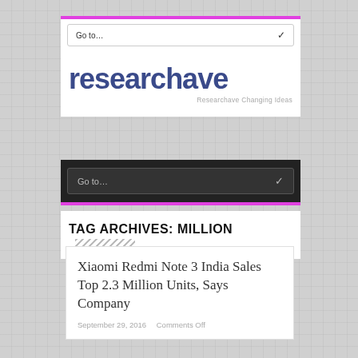[Figure (logo): Researchave website logo with text 'researchave' in large dark blue font and tagline 'Researchave Changing Ideas']
TAG ARCHIVES: MILLION
Xiaomi Redmi Note 3 India Sales Top 2.3 Million Units, Says Company
September 29, 2016    Comments Off